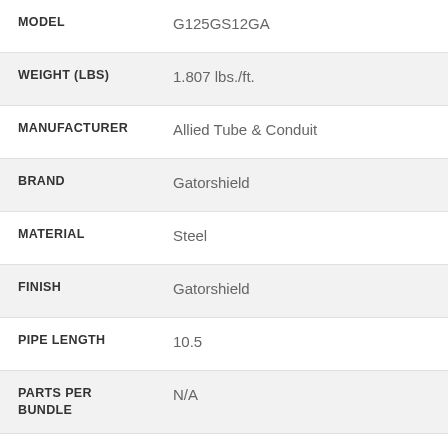| Attribute | Value |
| --- | --- |
| MODEL | G125GS12GA |
| WEIGHT (LBS) | 1.807 lbs./ft. |
| MANUFACTURER | Allied Tube & Conduit |
| BRAND | Gatorshield |
| MATERIAL | Steel |
| FINISH | Gatorshield |
| PIPE LENGTH | 10.5 |
| PARTS PER BUNDLE | N/A |
| FINISH | 2016 Allied Gatorshield |
| SIZE (NOM | Size 7 (1-1/4" / 1.660") |